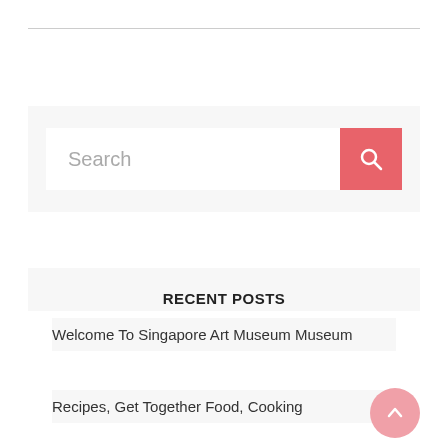[Figure (screenshot): Search bar widget with a text input placeholder 'Search' and a salmon/red search button with magnifying glass icon]
RECENT POSTS
Welcome To Singapore Art Museum Museum
Recipes, Get Together Food, Cooking